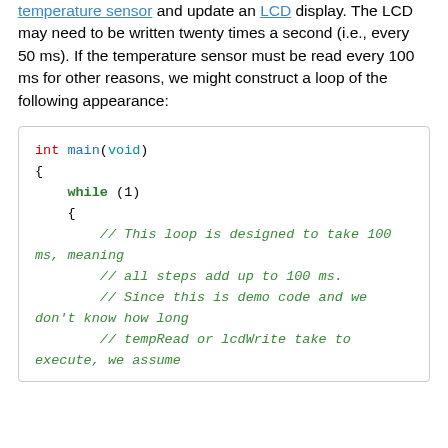temperature sensor and update an LCD display. The LCD may need to be written twenty times a second (i.e., every 50 ms). If the temperature sensor must be read every 100 ms for other reasons, we might construct a loop of the following appearance:
int main(void)
{
    while (1)
    {
        // This loop is designed to take 100 ms, meaning
        // all steps add up to 100 ms.
        // Since this is demo code and we don't know how long
        // tempRead or lcdWrite take to execute, we assume